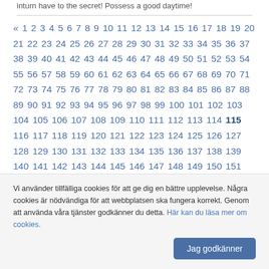inturn have to the secret! Possess a good daytime!
« 1 2 3 4 5 6 7 8 9 10 11 12 13 14 15 16 17 18 19 20 21 22 23 24 25 26 27 28 29 30 31 32 33 34 35 36 37 38 39 40 41 42 43 44 45 46 47 48 49 50 51 52 53 54 55 56 57 58 59 60 61 62 63 64 65 66 67 68 69 70 71 72 73 74 75 76 77 78 79 80 81 82 83 84 85 86 87 88 89 90 91 92 93 94 95 96 97 98 99 100 101 102 103 104 105 106 107 108 109 110 111 112 113 114 115 116 117 118 119 120 121 122 123 124 125 126 127 128 129 130 131 132 133 134 135 136 137 138 139 140 141 142 143 144 145 146 147 148 149 150 151 152 153 154 155 156 157 158 159 160 161 162 163 164 165 166 167 168 169 170 171 172 173 174 175 176 177 178 179 180 181 182 183 184 185 186 187 188 189 190 191 192 193 194 195 196 197 198 199 200 201 202 203 204 205 206 207 208 209 210 211 212 213 214 215 216 217 218 219 220 221 222 223 224 225
Vi använder tillfälliga cookies för att ge dig en bättre upplevelse. Några cookies är nödvändiga för att webbplatsen ska fungera korrekt. Genom att använda våra tjänster godkänner du detta. Här kan du läsa mer om cookies.